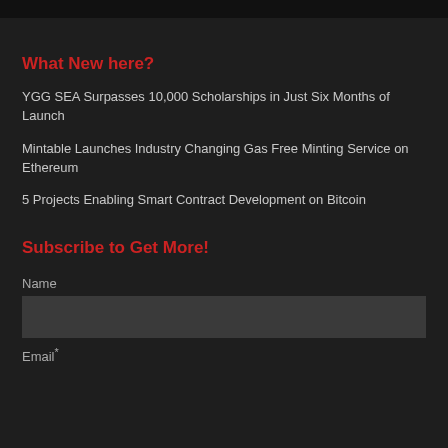What New here?
YGG SEA Surpasses 10,000 Scholarships in Just Six Months of Launch
Mintable Launches Industry Changing Gas Free Minting Service on Ethereum
5 Projects Enabling Smart Contract Development on Bitcoin
Subscribe to Get More!
Name
Email*